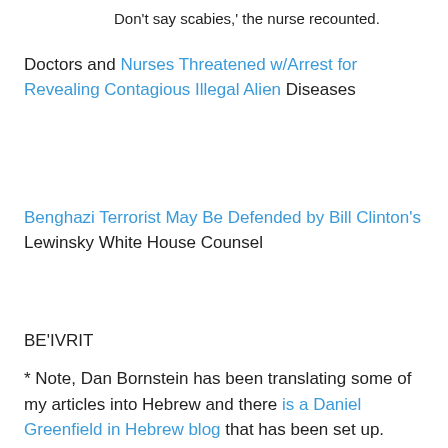Don't say scabies,' the nurse recounted.
Doctors and Nurses Threatened w/Arrest for Revealing Contagious Illegal Alien Diseases
Benghazi Terrorist May Be Defended by Bill Clinton's Lewinsky White House Counsel
BE'IVRIT
* Note, Dan Bornstein has been translating some of my articles into Hebrew and there is a Daniel Greenfield in Hebrew blog that has been set up.